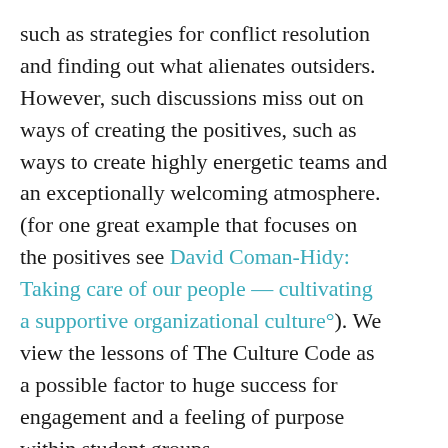such as strategies for conflict resolution and finding out what alienates outsiders. However, such discussions miss out on ways of creating the positives, such as ways to create highly energetic teams and an exceptionally welcoming atmosphere. (for one great example that focuses on the positives see David Coman-Hidy: Taking care of our people — cultivating a supportive organizational culture°). We view the lessons of The Culture Code as a possible factor to huge success for engagement and a feeling of purpose within student groups.
Main Claims
The book identifies three main elements of exceptional organizational cultures: safety, vulnerability, and purpose.